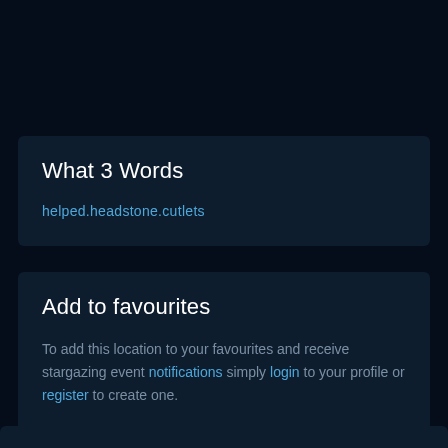What 3 Words
helped.headstone.cutlets
Add to favourites
To add this location to your favourites and receive stargarzing event notifications simply login to your profile or register to create one.